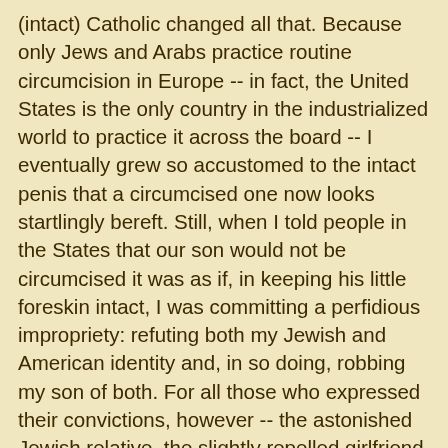(intact) Catholic changed all that. Because only Jews and Arabs practice routine circumcision in Europe -- in fact, the United States is the only country in the industrialized world to practice it across the board -- I eventually grew so accustomed to the intact penis that a circumcised one now looks startlingly bereft. Still, when I told people in the States that our son would not be circumcised it was as if, in keeping his little foreskin intact, I was committing a perfidious impropriety: refuting both my Jewish and American identity and, in so doing, robbing my son of both. For all those who expressed their convictions, however -- the astonished Jewish relative, the slightly repelled girlfriend, the perturbed American husband -- a number of questions hung in the air, unanswered. Why, exactly, do we circumcise? How did circumcision evolve from a strictly Jewish and Muslim ritual to a standard medical procedure performed on a vast majority of American males, irrespective of religion? Why is the United States the only Western nation in the world to practice it routinely, despite overwhelming evidence debunking medical claims and enduring myths? More important, what exactly is the foreskin, what happens when we remove it and why do we continue to opt for